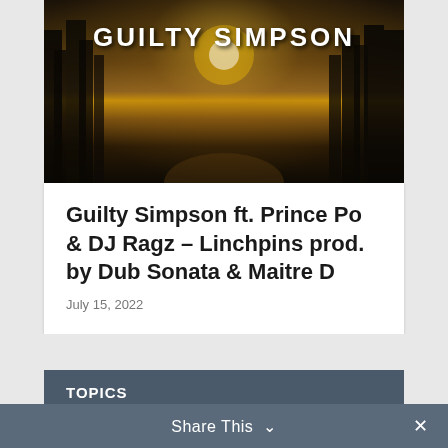[Figure (photo): Dark forest scene with sunlight breaking through trees, with text 'GUILTY SIMPSON' overlaid in bold white capital letters]
Guilty Simpson ft. Prince Po & DJ Ragz – Linchpins prod. by Dub Sonata & Maitre D
July 15, 2022
TOPICS
Select Category
Share This